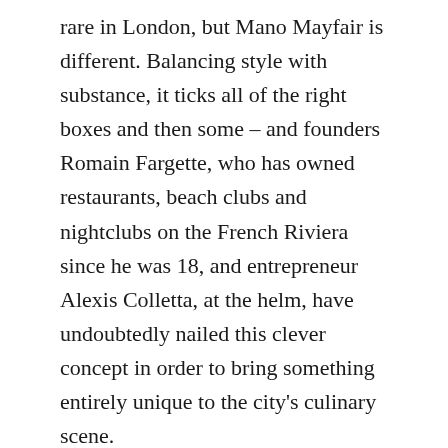rare in London, but Mano Mayfair is different. Balancing style with substance, it ticks all of the right boxes and then some – and founders Romain Fargette, who has owned restaurants, beach clubs and nightclubs on the French Riviera since he was 18, and entrepreneur Alexis Colletta, at the helm, have undoubtedly nailed this clever concept in order to bring something entirely unique to the city's culinary scene.
Head chef Luciana Berry is, of course, a key piece in this impressive puzzle, taking the helm in the kitchen to dream up a creative and exciting menu that combines the finest flavours of both Brazil and Japan. Winner of Top Chef Brazil 2020 and a MasterChef: The Professionals semi-finalist, Luciana's desire to import some Brazilian fieriness to Mayfair – but with a twist – ali[Scroll to Top]y